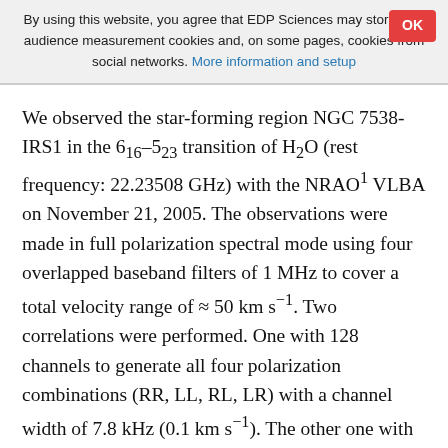By using this website, you agree that EDP Sciences may store web audience measurement cookies and, on some pages, cookies from social networks. More information and setup
We observed the star-forming region NGC 7538-IRS1 in the 6_16–5_23 transition of H2O (rest frequency: 22.23508 GHz) with the NRAO¹ VLBA on November 21, 2005. The observations were made in full polarization spectral mode using four overlapped baseband filters of 1 MHz to cover a total velocity range of ≈ 50 km s⁻¹. Two correlations were performed. One with 128 channels to generate all four polarization combinations (RR, LL, RL, LR) with a channel width of 7.8 kHz (0.1 km s⁻¹). The other one with high spectral resolution (512 channels; 1.96 kHz = 0.027 km s⁻¹), which only contains the